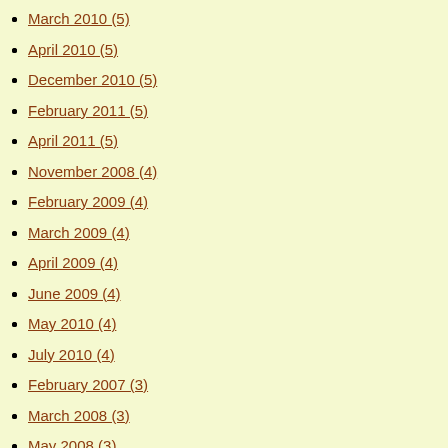March 2010 (5)
April 2010 (5)
December 2010 (5)
February 2011 (5)
April 2011 (5)
November 2008 (4)
February 2009 (4)
March 2009 (4)
April 2009 (4)
June 2009 (4)
May 2010 (4)
July 2010 (4)
February 2007 (3)
March 2008 (3)
May 2008 (3)